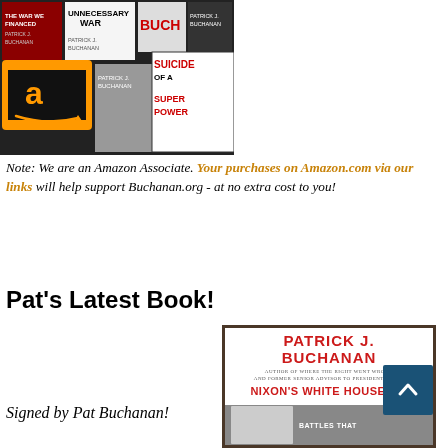[Figure (photo): Collage of Patrick J. Buchanan book covers on Amazon, showing books including 'Suicide of a Superpower' and 'Unnecessary War', with Amazon logo visible]
Note: We are an Amazon Associate. Your purchases on Amazon.com via our links will help support Buchanan.org - at no extra cost to you!
Pat's Latest Book!
[Figure (photo): Book cover of 'Nixon's White House Wars' by Patrick J. Buchanan, showing title in red and black-and-white photo at bottom]
Signed by Pat Buchanan!